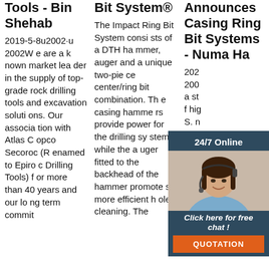Tools - Bin Shehab
2019-5-8u2002·u2002W e are a known market leader in the supply of top-grade rock drilling tools and excavation solutions. Our association with Atlas Copco Secoroc (Renamed to Epiroc Drilling Tools) for more than 40 years and our long term commit
Bit System®
The Impact Ring Bit System consists of a DTH hammer, auger and a unique two-piece center/ring bit combination. The casing hammers provide power for the drilling system while the auger fitted to the backhead of the hammer promotes more efficient hole cleaning. The
Announces Casing Ring Bit Systems - Numa Ha
202 200 a st f hig S. n mm or d ½ -50½ inches (89 -1283 mm) in diameter. With over 100 DTH hammer and bit pro
[Figure (illustration): Customer service agent chat widget with '24/7 Online' banner, agent photo, 'Click here for free chat!' text, and 'QUOTATION' button]